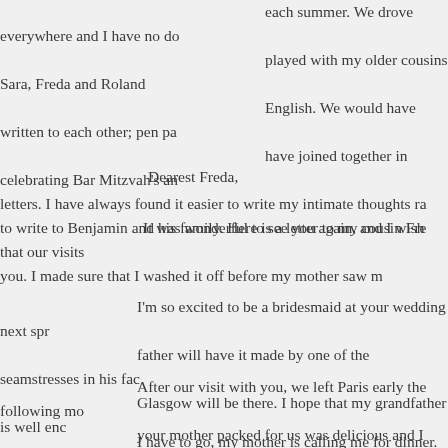each summer. We drove everywhere and I have no do played with my older cousins Sara, Freda and Roland English. We would have written to each other; pen pa have joined together in celebrating Bar Mitzvah's an letters. I have always found it easier to write my intimate thoughts ra to write to Benjamin and his family. Here is a letter to my cousin Fre
Dearest Freda,
It was wonderful to see you again, and I wish that our visits you. I made sure that I washed it off before my mother saw m
I'm so excited to be a bridesmaid at your wedding next spr father will have it made by one of the seamstresses in his fac Glasgow will be there. I hope that my grandfather is well enc
After our visit with you, we left Paris early the following mo your mother packed for us was delicious and I think we ate relaxed the whole time. My father was lots of fun. Maybe so
I have to go, my mother is calling me for dinner. Write soo